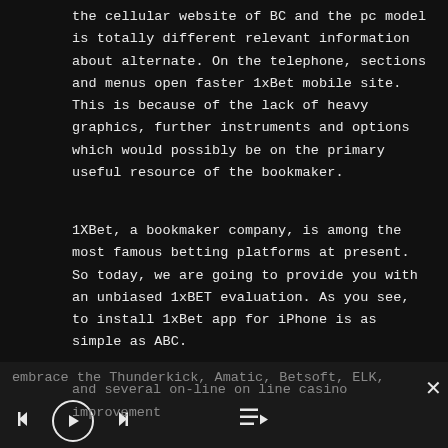the cellular website of BC and the pc model is totally different relevant information about alternate. On the telephone, sections and menus open faster 1xBet mobile site. This is because of the lack of heavy graphics, further instruments and options which would possibly be on the primary useful resource of the bookmaker.
1XBet, a bookmaker company, is among the most famous betting platforms at present. So today, we are going to provide you with an unbiased 1xBET evaluation. As you see, to install 1xBet app for iPhone is as simple as ABC.
Some of the most well-liked slot manufacturers embrace the Thunderkick, Amatic, Betsoft, ELK, and several on-line on line casino improvement